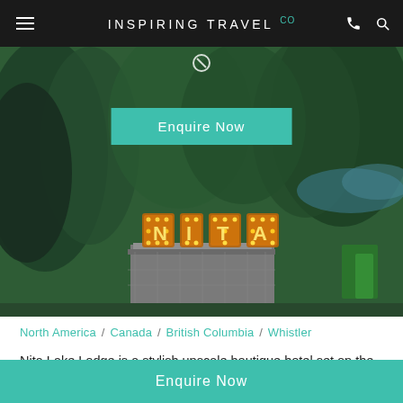INSPIRING TRAVEL Co
[Figure (photo): Outdoor photo showing forested hillside with trees, a lake or water body visible in background, and illuminated NITA sign on stone pedestal in foreground. Teal 'Enquire Now' button overlaid on image.]
North America / Canada / British Columbia / Whistler
Nita Lake Lodge is a stylish upscale boutique hotel set on the shore of glacier-fed Nita Lake in the village of Creekside, a short courtesy-shuttle ride from the heart of Whistler.
Enquire Now